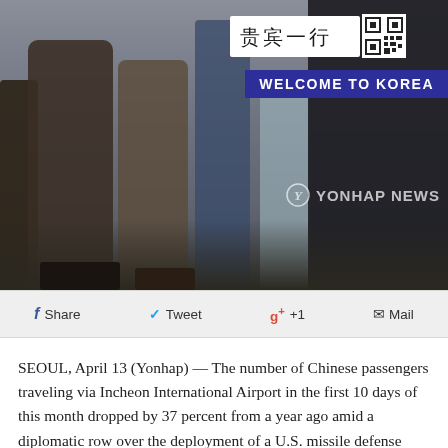[Figure (photo): Blurry photograph of people standing at Incheon International Airport. A sign with Chinese characters (贵宾一行) and a QR code is visible, along with a blue banner reading 'WELCOME TO KOREA'. A Yonhap News watermark appears at the bottom right.]
Share  Tweet  g+ +1  Mail
SEOUL, April 13 (Yonhap) — The number of Chinese passengers traveling via Incheon International Airport in the first 10 days of this month dropped by 37 percent from a year ago amid a diplomatic row over the deployment of a U.S. missile defense system, its operator said Thursday.